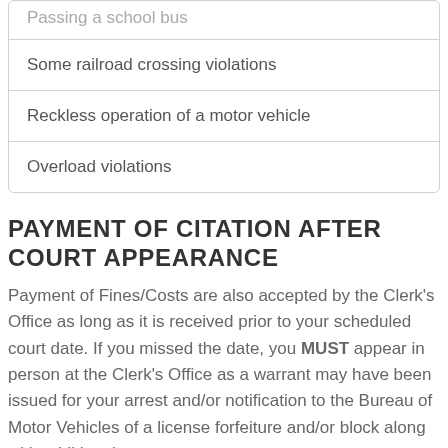Passing a school bus
Some railroad crossing violations
Reckless operation of a motor vehicle
Overload violations
PAYMENT OF CITATION AFTER COURT APPEARANCE
Payment of Fines/Costs are also accepted by the Clerk's Office as long as it is received prior to your scheduled court date. If you missed the date, you MUST appear in person at the Clerk's Office as a warrant may have been issued for your arrest and/or notification to the Bureau of Motor Vehicles of a license forfeiture and/or block along with additional